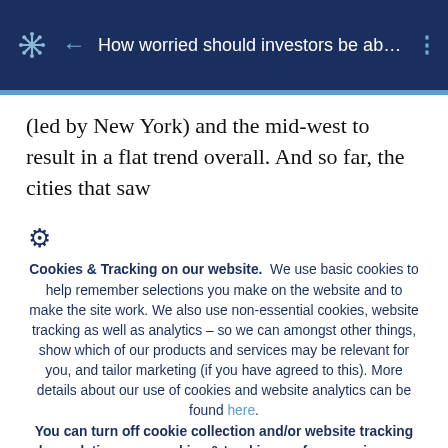How worried should investors be abo...
(led by New York) and the mid-west to result in a flat trend overall. And so far, the cities that saw
Cookies & Tracking on our website. We use basic cookies to help remember selections you make on the website and to make the site work. We also use non-essential cookies, website tracking as well as analytics – so we can amongst other things, show which of our products and services may be relevant for you, and tailor marketing (if you have agreed to this). More details about our use of cookies and website analytics can be found here. You can turn off cookie collection and/or website tracking by updating your cookies & tracking preferences in your browser settings.
I ACCEPT THIS MESSAGE